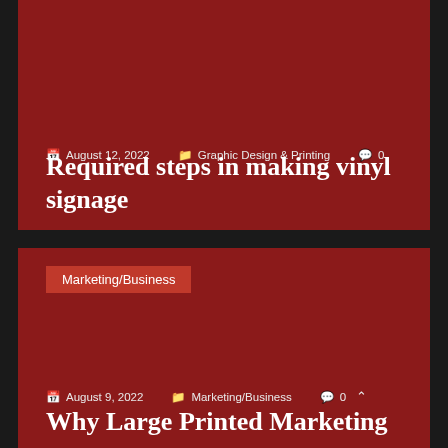August 12, 2022  Graphic Design & Printing  0
Required steps in making vinyl signage
Marketing/Business
August 9, 2022  Marketing/Business  0
Why Large Printed Marketing